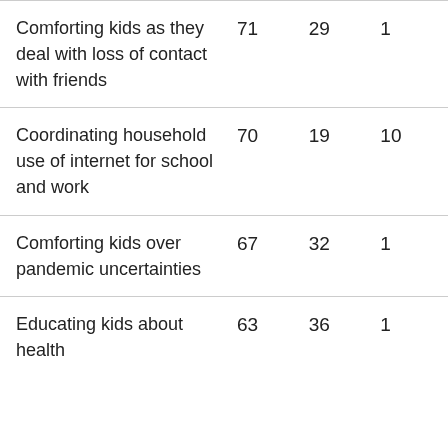| Comforting kids as they deal with loss of contact with friends | 71 | 29 | 1 |
| Coordinating household use of internet for school and work | 70 | 19 | 10 |
| Comforting kids over pandemic uncertainties | 67 | 32 | 1 |
| Educating kids about health | 63 | 36 | 1 |